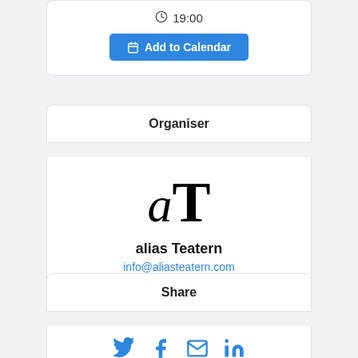19:00
Add to Calendar
Organiser
[Figure (logo): alias Teatern logo: stylized italic lowercase 'a' followed by uppercase serif 'T']
alias Teatern
info@aliasteatern.com
Share
[Figure (infographic): Social sharing icons: Twitter bird, Facebook f, envelope/email, LinkedIn in — all in blue]